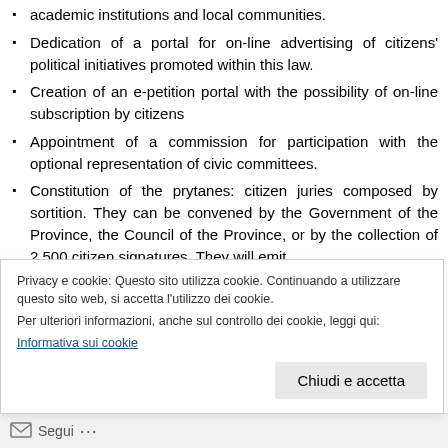academic institutions and local communities.
Dedication of a portal for on-line advertising of citizens' political initiatives promoted within this law.
Creation of an e-petition portal with the possibility of on-line subscription by citizens
Appointment of a commission for participation with the optional representation of civic committees.
Constitution of the prytanes: citizen juries composed by sortition. They can be convened by the Government of the Province, the Council of the Province, or by the collection of 2.500 citizen signatures. They will emit
Privacy e cookie: Questo sito utilizza cookie. Continuando a utilizzare questo sito web, si accetta l'utilizzo dei cookie.
Per ulteriori informazioni, anche sul controllo dei cookie, leggi qui:
Informativa sui cookie
Segui